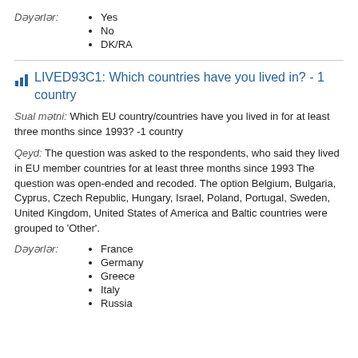Dəyərlər:
Yes
No
DK/RA
LIVED93C1: Which countries have you lived in? - 1 country
Sual mətni: Which EU country/countries have you lived in for at least three months since 1993? -1 country
Qeyd: The question was asked to the respondents, who said they lived in EU member countries for at least three months since 1993 The question was open-ended and recoded. The option Belgium, Bulgaria, Cyprus, Czech Republic, Hungary, Israel, Poland, Portugal, Sweden, United Kingdom, United States of America and Baltic countries were grouped to 'Other'.
Dəyərlər:
France
Germany
Greece
Italy
Russia